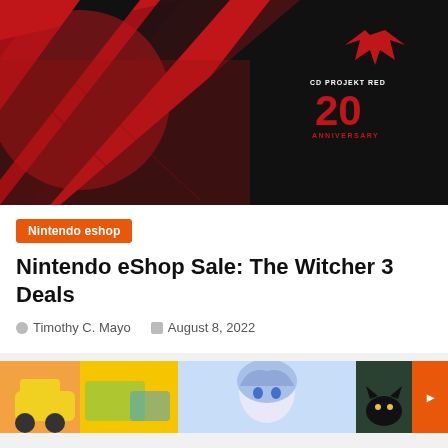[Figure (illustration): CD Projekt Red 20th Anniversary promotional banner image with red and black design featuring stylized characters and angular shapes. CD Projekt Red logo and '20 ANNIVERSARY' text visible in upper right.]
Nintendo eshop
Nintendo eShop Sale: The Witcher 3 Deals
Timothy C. Mayo  August 8, 2022
[Figure (illustration): Bottom strip showing partial thumbnails of multiple articles: colorful cartoon image, anime-style character, dark image with cat silhouette, and orange navigation arrow button.]